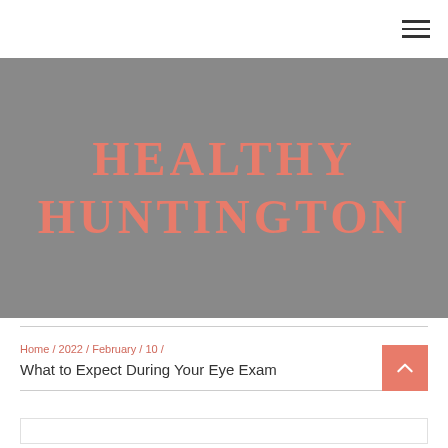Healthy Huntington — navigation header with hamburger menu
HEALTHY HUNTINGTON
Home / 2022 / February / 10 / What to Expect During Your Eye Exam